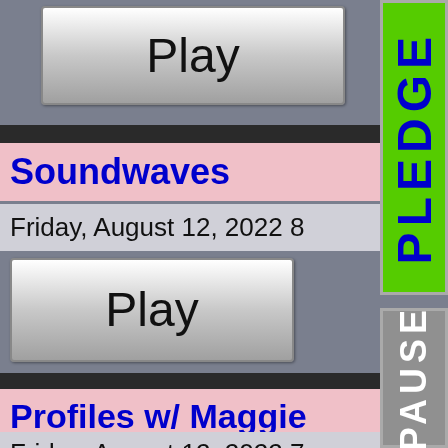[Figure (screenshot): Play button at top, gradient gray/white button with text 'Play']
Soundwaves
Friday, August 12, 2022 8
[Figure (screenshot): Play button second section, gradient gray/white button with text 'Play']
Profiles w/ Maggie Leh
Friday, August 12, 2022 7
[Figure (screenshot): Play button third section partially visible]
[Figure (screenshot): PLEDGE vertical button, green background with blue bold text]
[Figure (screenshot): PAUSE vertical button, gray background with white bold text]